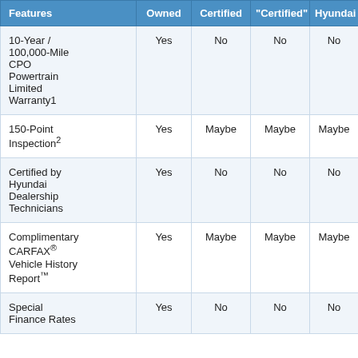| Features | Owned | Certified | "Certified" | Hyundai |
| --- | --- | --- | --- | --- |
| 10-Year / 100,000-Mile CPO Powertrain Limited Warranty1 | Yes | No | No | No |
| 150-Point Inspection2 | Yes | Maybe | Maybe | Maybe |
| Certified by Hyundai Dealership Technicians | Yes | No | No | No |
| Complimentary CARFAX® Vehicle History Report™ | Yes | Maybe | Maybe | Maybe |
| Special Finance Rates... | Yes | No | No | No |